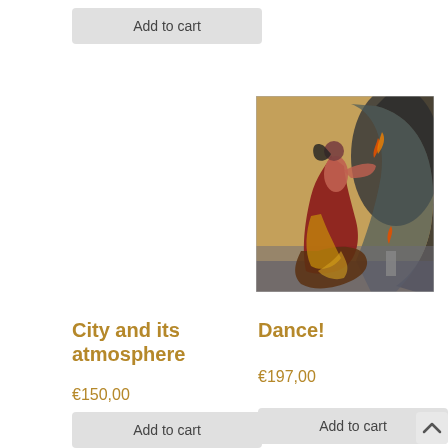Add to cart
[Figure (photo): Painting of a flamenco dancer in red and gold swirling dress, with a dark ornamental frame/mirror behind her, gold textured background]
City and its atmosphere
Dance!
€150,00
€197,00
Add to cart
Add to cart